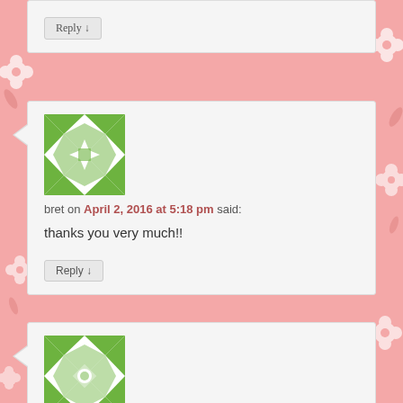[Figure (screenshot): Website blog comment section showing two user comments on a pink floral background. First comment by 'bret' dated April 2, 2016 at 5:18 pm saying 'thanks you very much!!' with a Reply button. Second comment by 'olee' dated April 3, 2016 at 12:46 am saying 'these past 2 years i spent with aikatsu have literally been the best times of my life. if u do end' with avatars shown as green geometric pattern icons.]